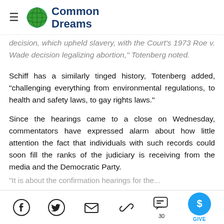Common Dreams
decision, which upheld slavery, with the Court's 1973 Roe v. Wade decision legalizing abortion," Totenberg noted.
Schiff has a similarly tinged history, Totenberg added, "challenging everything from environmental regulations, to health and safety laws, to gay rights laws."
Since the hearings came to a close on Wednesday, commentators have expressed alarm about how little attention the fact that individuals with such records could soon fill the ranks of the judiciary is receiving from the media and the Democratic Party.
"It is about the confirmation hearings for the...
Social share bar: Facebook, Twitter, Email, Link, Comments (30), Give